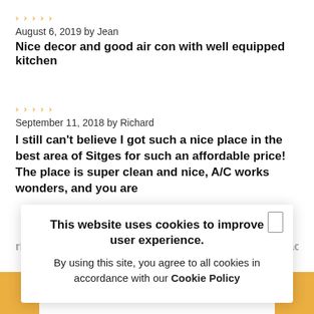★★★★★
August 6, 2019 by Jean
Nice decor and good air con with well equipped kitchen
★★★★★
September 11, 2018 by Richard
I still can't believe I got such a nice place in the best area of Sitges for such an affordable price! The place is super clean and nice, A/C works wonders, and you are right in the middle of the action! Will def come back
This website uses cookies to improve user experience. By using this site, you agree to all cookies in accordance with our Cookie Policy